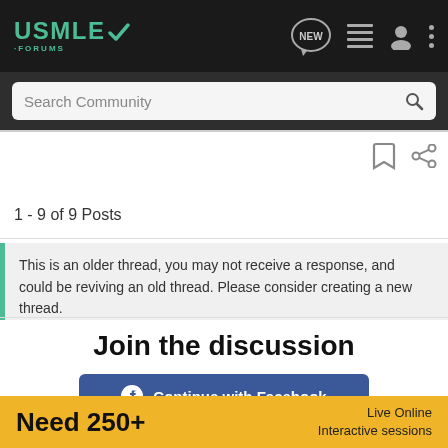USMLE FORUMS
Search Community
1 - 9 of 9 Posts
This is an older thread, you may not receive a response, and could be reviving an old thread. Please consider creating a new thread.
Join the discussion
Continue with Facebook
Need 250+  Live Online Interactive sessions